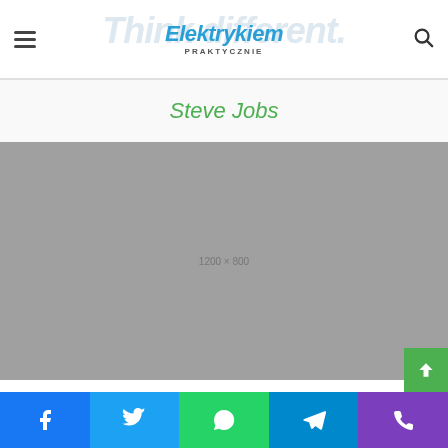Elektrykiem PRAKTYCZNIE
Steve Jobs
[Figure (photo): Gray placeholder image 1200x800]
Social share buttons: Facebook, Twitter, WhatsApp, Telegram, Phone